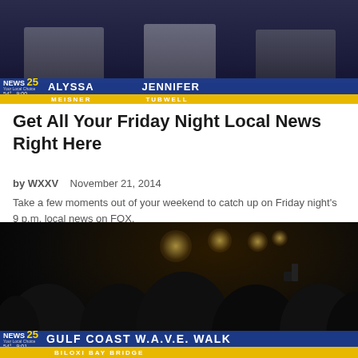[Figure (screenshot): NEWS 25 TV studio broadcast showing two anchors, Alyssa Meisner and Jennifer Tubwell, with lower third graphics. Temperature 54°, time 9:00.]
Get All Your Friday Night Local News Right Here
by WXXV   November 21, 2014
Take a few moments out of your weekend to catch up on Friday night's 9 p.m. local news on FOX.
[Figure (screenshot): NEWS 25 night broadcast showing crowd walking at Biloxi Bay Bridge for Gulf Coast W.A.V.E. Walk event. Time 9:01, temperature 54°.]